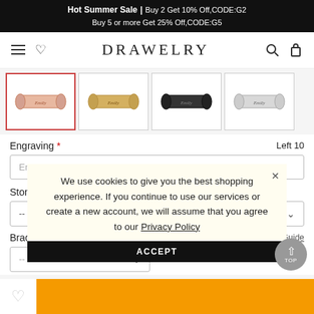Hot Summer Sale | Buy 2 Get 10% Off,CODE:G2 Buy 5 or more Get 25% Off,CODE:G5
[Figure (logo): DRAWELRY brand logo with hamburger menu, heart, search, and cart icons]
[Figure (photo): Four bracelet thumbnail images: rose gold, gold, black, and silver name bracelets with 'Emily' engraving]
Engraving *   Left 10
Enter the engraving
Stone *
-- Please Select --
Bracelet Size *   Size Guide
-- Select Si...
We use cookies to give you the best shopping experience. If you continue to use our services or create a new account, we will assume that you agree to our Privacy Policy
ACCEPT